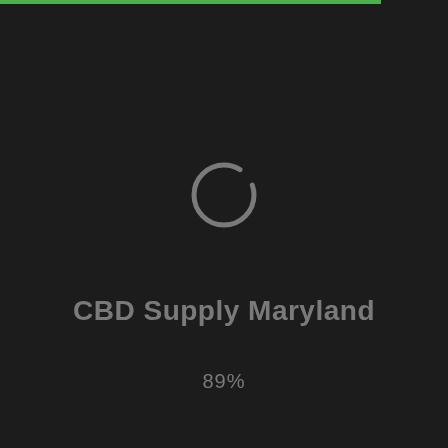[Figure (other): Loading spinner — a circular arc (approximately 300 degrees) rendered in gray on a dark background, indicating a loading state at 89%]
CBD Supply Maryland
89%